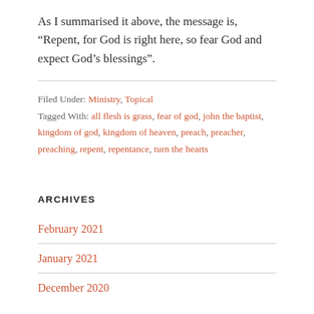As I summarised it above, the message is, “Repent, for God is right here, so fear God and expect God’s blessings”.
Filed Under: Ministry, Topical
Tagged With: all flesh is grass, fear of god, john the baptist, kingdom of god, kingdom of heaven, preach, preacher, preaching, repent, repentance, turn the hearts
ARCHIVES
February 2021
January 2021
December 2020